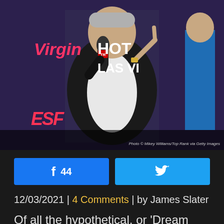[Figure (photo): Elderly man in black suit holding microphone with one finger raised, Virgin Hotel Las Vegas and ESPN branding in background. Photo credit: Mikey Williams/Top Rank via Getty Images]
44
12/03/2021 | 4 Comments | by James Slater
Of all the hypothetical, or 'Dream